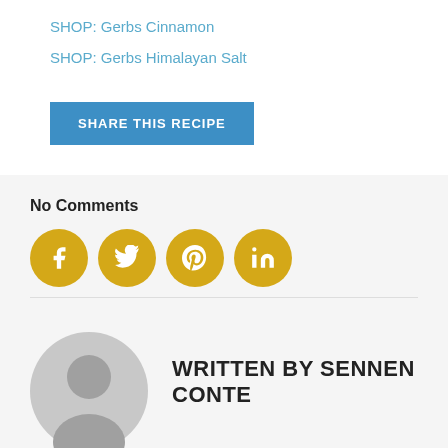SHOP: Gerbs Cinnamon
SHOP: Gerbs Himalayan Salt
SHARE THIS RECIPE
No Comments
[Figure (other): Four yellow circular social media icons: Facebook, Twitter, Pinterest, LinkedIn]
WRITTEN BY SENNEN CONTE
[Figure (illustration): Gray circular avatar/profile placeholder image]